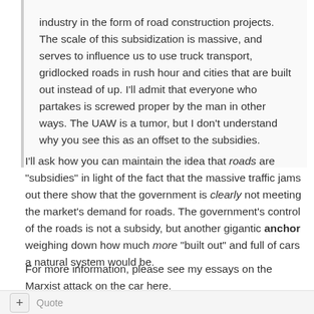industry in the form of road construction projects. The scale of this subsidization is massive, and serves to influence us to use truck transport, gridlocked roads in rush hour and cities that are built out instead of up. I'll admit that everyone who partakes is screwed proper by the man in other ways. The UAW is a tumor, but I don't understand why you see this as an offset to the subsidies.
I'll ask how you can maintain the idea that roads are "subsidies" in light of the fact that the massive traffic jams out there show that the government is clearly not meeting the market's demand for roads. The government's control of the roads is not a subsidy, but another gigantic anchor weighing down how much more "built out" and full of cars a natural system would be.
For more information, please see my essays on the Marxist attack on the car here.